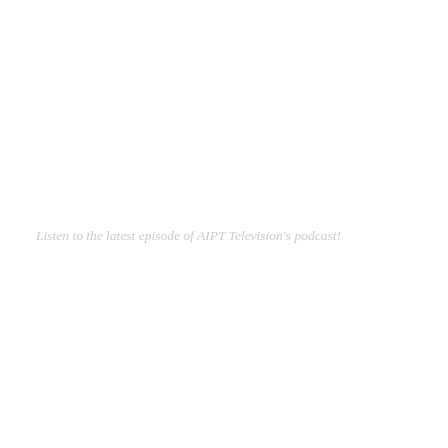Listen to the latest episode of AIPT Television's podcast!